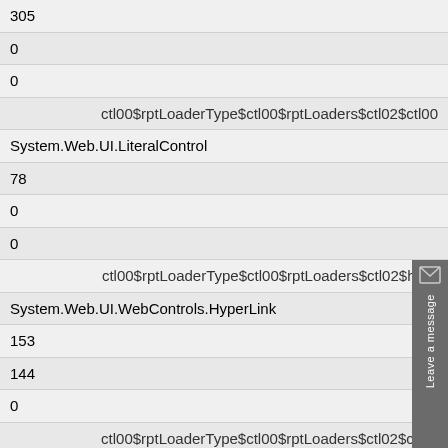| 305 |
| 0 |
| 0 |
| ctl00$rptLoaderType$ctl00$rptLoaders$ctl02$ctl00 |
| System.Web.UI.LiteralControl |
| 78 |
| 0 |
| 0 |
| ctl00$rptLoaderType$ctl00$rptLoaders$ctl02$hlink |
| System.Web.UI.WebControls.HyperLink |
| 153 |
| 144 |
| 0 |
| ctl00$rptLoaderType$ctl00$rptLoaders$ctl02$ctl01 |
| System.Web.UI.LiteralControl |
| 74 |